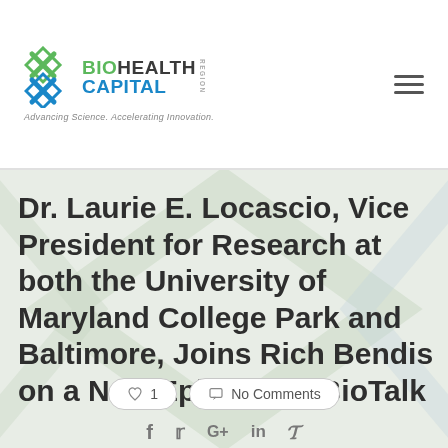BioHealth Capital Region — Advancing Science. Accelerating Innovation.
Dr. Laurie E. Locascio, Vice President for Research at both the University of Maryland College Park and Baltimore, Joins Rich Bendis on a New Episode of BioTalk
♡ 1
No Comments
f  𝕏  G+  in  𝕡